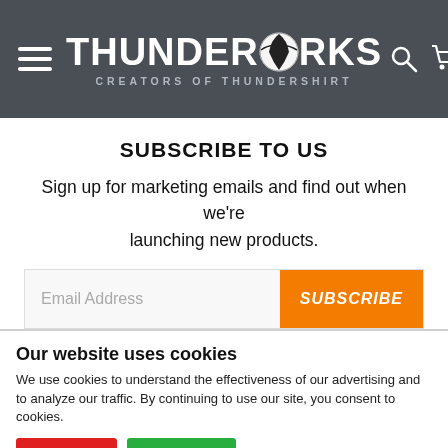[Figure (logo): Thunderworks website header with hamburger menu, Thunderworks logo (Creators of Thundershirt), search icon, and cart icon with orange badge]
SUBSCRIBE TO US
Sign up for marketing emails and find out when we're launching new products.
[Figure (screenshot): Email address input field with placeholder text 'Email Address' and an orange SUBSCRIBE button]
Our website uses cookies
We use cookies to understand the effectiveness of our advertising and to analyze our traffic. By continuing to use our site, you consent to cookies.
Decline   Accept   Show details